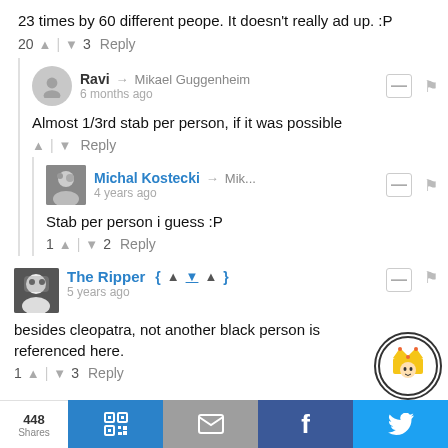23 times by 60 different peope. It doesn't really ad up. :P
20 ▲ | ▼ 3   Reply
Ravi → Mikael Guggenheim
6 months ago
Almost 1/3rd stab per person, if it was possible
▲ | ▼   Reply
Michal Kostecki → Mik...
4 years ago
Stab per person i guess :P
1 ▲ | ▼ 2   Reply
The Ripper {▲▼▲}
5 years ago
besides cleopatra, not another black person is referenced here.
1 ▲ | ▼ 3   Reply
448
Shares